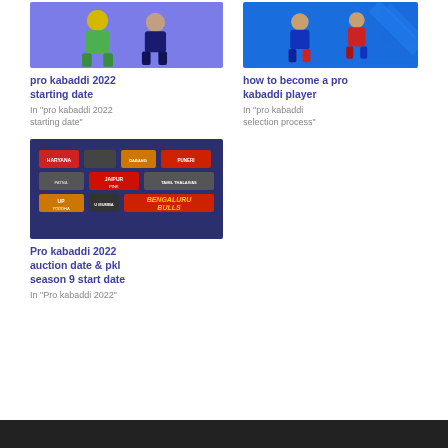[Figure (photo): Two kabaddi players on purple/blue background]
pro kabaddi 2022 starting date
In "pro kabaddi 2022 starting date"
[Figure (photo): Kabaddi players on blue background with diagonal stripes]
how to become a pro kabaddi player
In "pro kabaddi selection process"
[Figure (photo): Pro Kabaddi team logos collage on dark blue background including Bengaluru Bulls]
Pro kabaddi 2022 auction date & pkl season 9 start date
In "Pro kabaddi 2022"